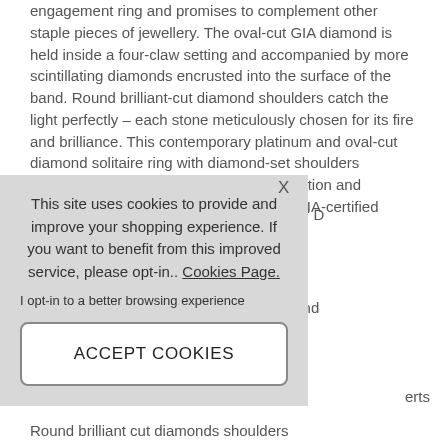engagement ring and promises to complement other staple pieces of jewellery. The oval-cut GIA diamond is held inside a four-claw setting and accompanied by more scintillating diamonds encrusted into the surface of the band. Round brilliant-cut diamond shoulders catch the light perfectly – each stone meticulously chosen for its fire and brilliance. This contemporary platinum and oval-cut diamond solitaire ring with diamond-set shoulders perfectly embodies our passion for innovation and creativity here at Berry's Jewellers. The GIA-certified diamond
[Figure (screenshot): Cookie consent overlay with message: 'This site uses cookies to provide and improve your shopping experience. If you want to benefit from this improved service, please opt-in.. Cookies Page.' An 'X' close button, an opt-in text link, and an ACCEPT COOKIES button.]
gement ring arity grading of D
nd ring with round
52
erts
Round brilliant cut diamonds shoulders